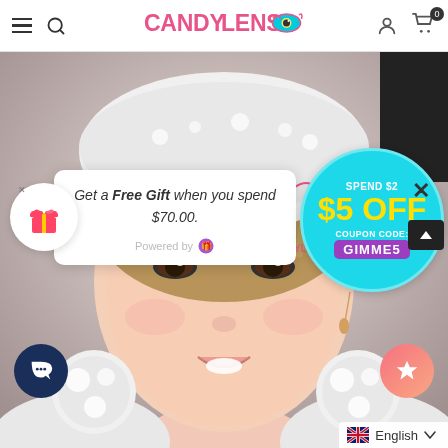CANDYLENS — Navigation bar with hamburger menu, search, logo, user icon, cart (0)
[Figure (photo): Close-up photo of a smiling young Asian woman with light brown hair and bangs, wearing a white fluffy hat and white fluffy ear muffs. The CandyLens watermark logo appears overlaid on the image.]
Get a Free Gift when you spend $70.00.
Powered by
SPEND $2 $5 OFF COUPON CODE: GIMME5
English